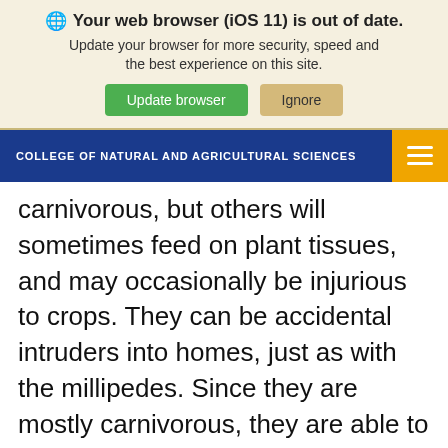Your web browser (iOS 11) is out of date. Update your browser for more security, speed and the best experience on this site.
COLLEGE OF NATURAL AND AGRICULTURAL SCIENCES
carnivorous, but others will sometimes feed on plant tissues, and may occasionally be injurious to crops. They can be accidental intruders into homes, just as with the millipedes. Since they are mostly carnivorous, they are able to obtain their moisture requirements to some extent by feeding on the live insects they can capture. Also, they crawl more rapidly than millipedes and sowbugs, and are more likely to find sources of